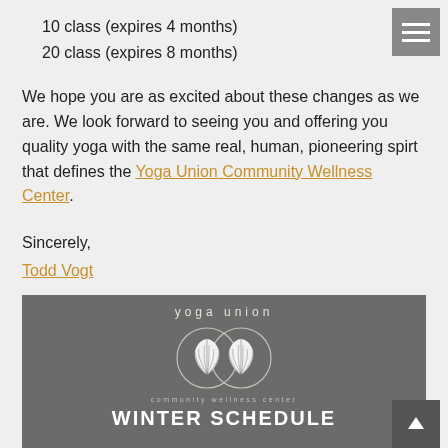10 class (expires 4 months)
20 class (expires 8 months)
We hope you are as excited about these changes as we are. We look forward to seeing you and offering you quality yoga with the same real, human, pioneering spirt that defines the Yoga Union Community Wellness Center.
Sincerely,
Todd Vogt
[Figure (logo): Yoga Union Community Wellness Center winter schedule banner with logo (two overlapping circles containing ginkgo leaf illustrations) and text 'yoga union', 'community wellness center', 'WINTER SCHEDULE' on a grey background.]